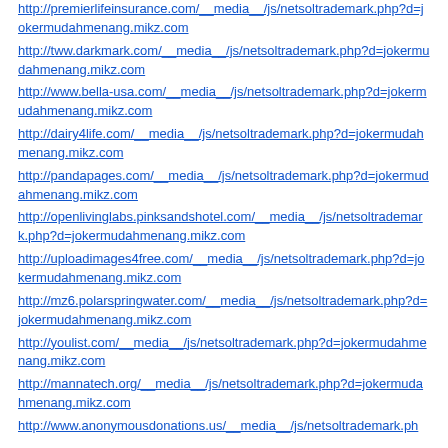http://premierlifeinsurance.com/__media__/js/netsoltrademark.php?d=jokermudahmenang.mikz.com
http://tww.darkmark.com/__media__/js/netsoltrademark.php?d=jokermudahmenang.mikz.com
http://www.bella-usa.com/__media__/js/netsoltrademark.php?d=jokermudahmenang.mikz.com
http://dairy4life.com/__media__/js/netsoltrademark.php?d=jokermudahmenang.mikz.com
http://pandapages.com/__media__/js/netsoltrademark.php?d=jokermudahmenang.mikz.com
http://openlivinglabs.pinksandshotel.com/__media__/js/netsoltrademark.php?d=jokermudahmenang.mikz.com
http://uploadimages4free.com/__media__/js/netsoltrademark.php?d=jokermudahmenang.mikz.com
http://mz6.polarspringwater.com/__media__/js/netsoltrademark.php?d=jokermudahmenang.mikz.com
http://youlist.com/__media__/js/netsoltrademark.php?d=jokermudahmenang.mikz.com
http://mannatech.org/__media__/js/netsoltrademark.php?d=jokermudahmenang.mikz.com
http://www.anonymousdonations.us/__media__/js/netsoltrademark.ph